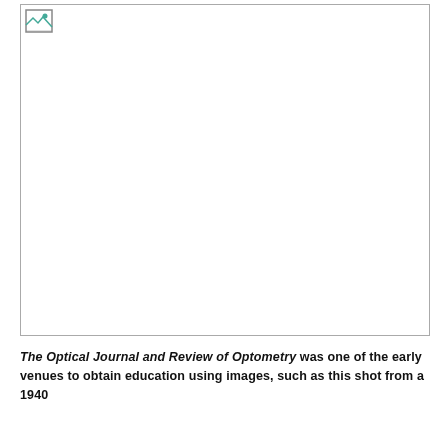[Figure (photo): A photograph from a 1940 issue of The Optical Journal and Review of Optometry, shown as a broken/missing image placeholder with a small icon in the top-left corner.]
The Optical Journal and Review of Optometry was one of the early venues to obtain education using images, such as this shot from a 1940